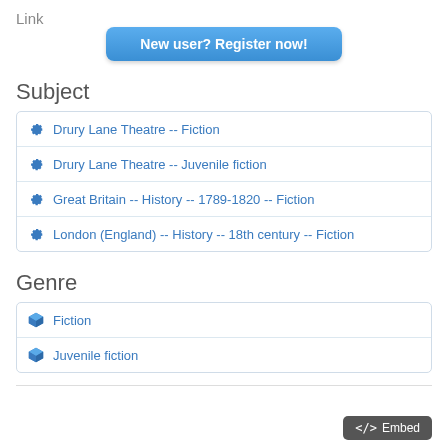Link
[Figure (screenshot): Blue rounded button labeled 'New user? Register now!']
Subject
Drury Lane Theatre -- Fiction
Drury Lane Theatre -- Juvenile fiction
Great Britain -- History -- 1789-1820 -- Fiction
London (England) -- History -- 18th century -- Fiction
Genre
Fiction
Juvenile fiction
[Figure (screenshot): Dark gray button labeled '</> Embed']